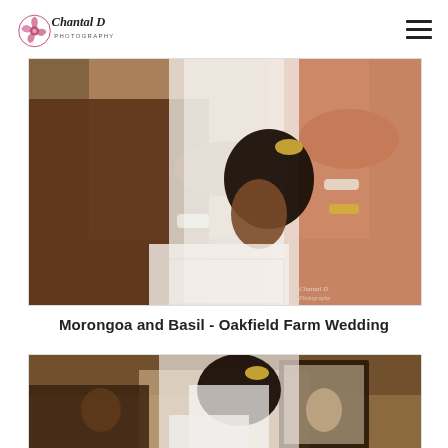Chantal D Photography
[Figure (photo): Close-up photo of a bride having her veil pinned into her hair. Multiple hands are visible helping with the veil. The bride wears a white lace dress. One helper wears a salmon/coral colored dress with pearl bracelets.]
Morongoa and Basil - Oakfield Farm Wedding
[Figure (photo): Photo of a bride from behind having her hair and veil arranged, with a mirror and other people visible in the background inside a rustic venue.]